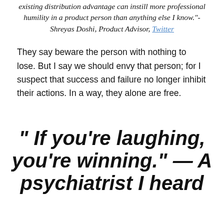existing distribution advantage can instill more professional humility in a product person than anything else I know."- Shreyas Doshi, Product Advisor, Twitter
They say beware the person with nothing to lose. But I say we should envy that person; for I suspect that success and failure no longer inhibit their actions. In a way, they alone are free.
“ If you’re laughing, you’re winning.” — A psychiatrist I heard